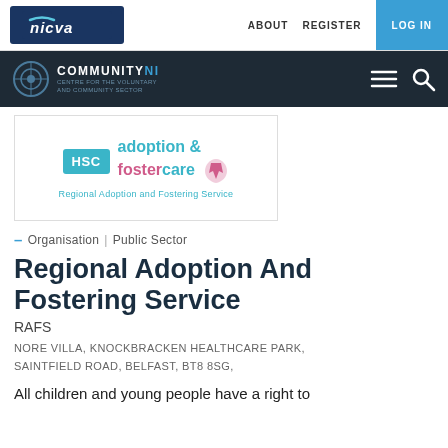nicva | ABOUT  REGISTER  LOG IN
[Figure (logo): COMMUNITY NI logo with circular icon on dark background, with hamburger menu and search icons]
[Figure (logo): HSC adoption & fostercare logo - Regional Adoption and Fostering Service]
— Organisation | Public Sector
Regional Adoption And Fostering Service
RAFS
NORE VILLA, KNOCKBRACKEN HEALTHCARE PARK, SAINTFIELD ROAD, BELFAST, BT8 8SG,
All children and young people have a right to